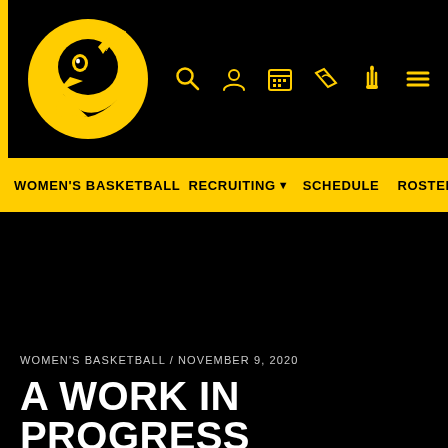[Figure (logo): Iowa Hawkeyes logo - black and gold tiger hawk on circular background]
WOMEN'S BASKETBALL  RECRUITING  SCHEDULE  ROSTER
[Figure (photo): Large black hero image area for article]
WOMEN'S BASKETBALL / NOVEMBER 9, 2020
A WORK IN PROGRESS